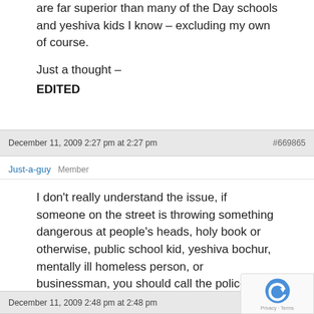are far superior than many of the Day schools and yeshiva kids I know – excluding my own of course.
Just a thought –
EDITED
December 11, 2009 2:27 pm at 2:27 pm #669865
Just-a-guy Member
I don't really understand the issue, if someone on the street is throwing something dangerous at people's heads, holy book or otherwise, public school kid, yeshiva bochur, mentally ill homeless person, or businessman, you should call the police.
December 11, 2009 2:48 pm at 2:48 pm